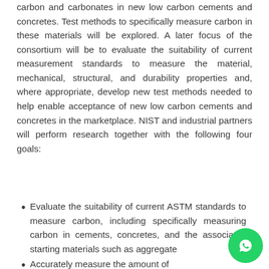carbon and carbonates in new low carbon cements and concretes. Test methods to specifically measure carbon in these materials will be explored. A later focus of the consortium will be to evaluate the suitability of current measurement standards to measure the material, mechanical, structural, and durability properties and, where appropriate, develop new test methods needed to help enable acceptance of new low carbon cements and concretes in the marketplace. NIST and industrial partners will perform research together with the following four goals:
Evaluate the suitability of current ASTM standards to measure carbon, including specifically measuring carbon in cements, concretes, and the associated starting materials such as aggregate
Accurately measure the amount of